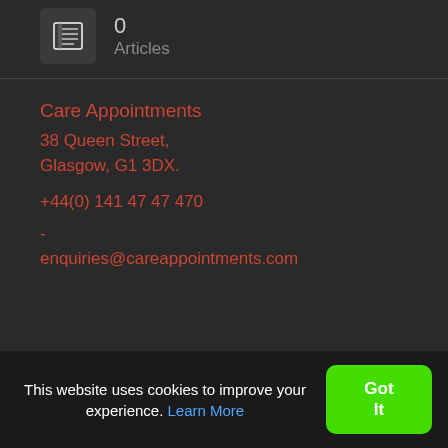[Figure (other): Icon box with newspaper/articles icon]
0
Articles
Care Appointments
38 Queen Street,
Glasgow, G1 3DX.
+44(0) 141 47 47 470
-
enquiries@careappointments.com
This website uses cookies to improve your experience. Learn More
Got It